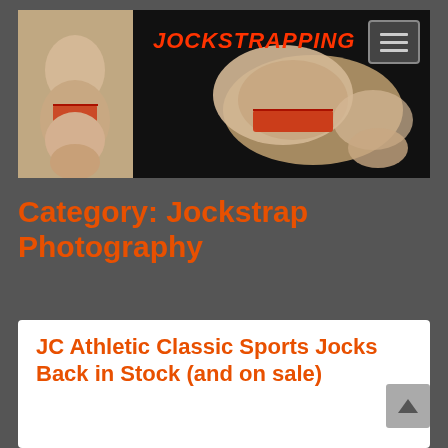[Figure (photo): Website banner for JOCKSTRAPPING blog showing two male figures wearing jockstraps against a dark background, with the site name in red/orange bold italic text]
Category: Jockstrap Photography
JC Athletic Classic Sports Jocks Back in Stock (and on sale)